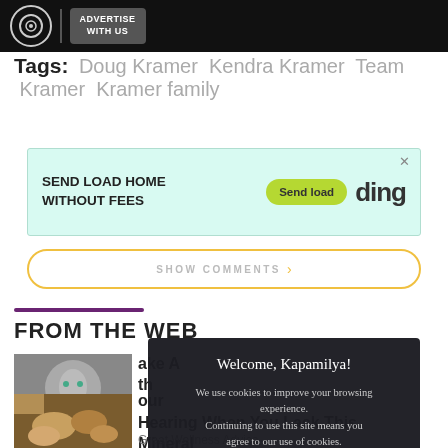ADVERTISE WITH US
Tags: Doug Kramer  Kendra Kramer  Team Kramer  Kramer family
[Figure (other): Advertisement banner: SEND LOAD HOME WITHOUT FEES - Send load - ding]
SHOW COMMENTS
FROM THE WEB
[Figure (photo): Photo of an older woman with white/silver hair looking serious]
ake A th
[Figure (photo): Photo of hands sorting through nuts and dried fruits]
our Hearing When You Lack This Mineral
Great Wellness Advice
[Figure (other): Cookie consent modal dialog: Welcome, Kapamilya! We use cookies to improve your browsing experience. Continuing to use this site means you agree to our use of cookies. Tell me more! I AGREE!]